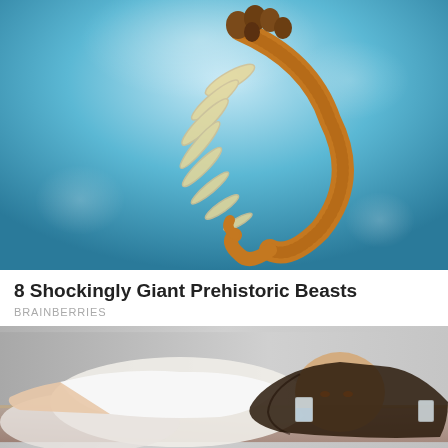[Figure (photo): Artistic illustration of a prehistoric marine creature (anomalocaris-like) swimming underwater. The creature has a curved orange/brown body with multiple dark bulbous appendages on its head, feathery yellow-white gills/fins along its body, and a long curling tail. The background is a blue underwater scene with soft light rays.]
8 Shockingly Giant Prehistoric Beasts
BRAINBERRIES
[Figure (photo): A young woman with long dark hair lying on a surface wearing a white sleeveless top, resting her head on her arm. She is looking toward the camera. There are glasses (one appears to be a drinking glass) on the surface near her. The background is a neutral grey gradient.]